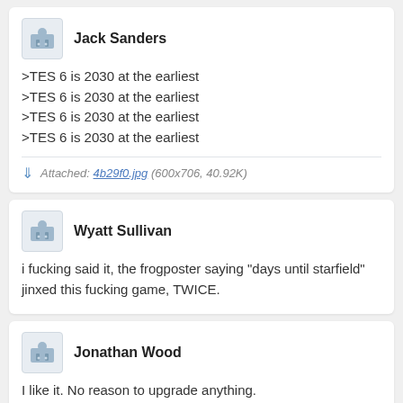Jack Sanders
>TES 6 is 2030 at the earliest
>TES 6 is 2030 at the earliest
>TES 6 is 2030 at the earliest
>TES 6 is 2030 at the earliest
Attached: 4b29f0.jpg (600x706, 40.92K)
Wyatt Sullivan
i fucking said it, the frogposter saying "days until starfield" jinxed this fucking game, TWICE.
Jonathan Wood
I like it. No reason to upgrade anything.
Leo Roberts